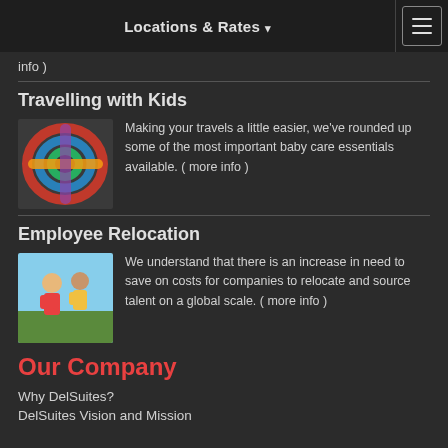Locations & Rates ▾
info )
Travelling with Kids
[Figure (photo): Colorful baby toy rings/keys in red, blue, green, yellow colors]
Making your travels a little easier, we've rounded up some of the most important baby care essentials available. ( more info )
Employee Relocation
[Figure (photo): People outdoors on grass with blue sky background]
We understand that there is an increase in need to save on costs for companies to relocate and source talent on a global scale. ( more info )
Our Company
Why DelSuites?
DelSuites Vision and Mission